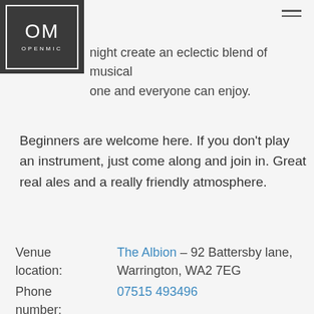[Figure (logo): OM OPENMIC logo — dark square with white inner border, letters OM large and OPENMIC small below]
night create an eclectic blend of musical one and everyone can enjoy.
Beginners are welcome here. If you don't play an instrument, just come along and join in. Great real ales and a really friendly atmosphere.
| Label | Value |
| --- | --- |
| Venue location: | The Albion – 92 Battersby lane, Warrington, WA2 7EG |
| Phone number: | 07515 493496 |
| Open Mic Night: | Thursdays from 8pm |
| Want to perform? | Just turn up and play. |